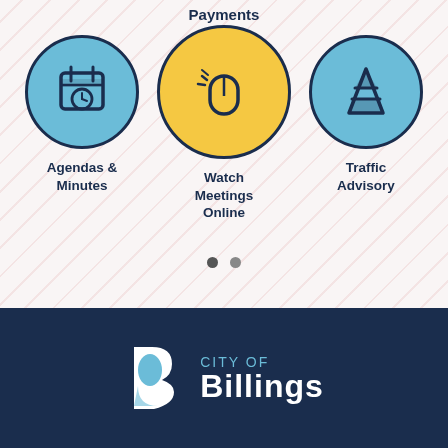Payments
[Figure (infographic): Three circular icons in a row: left blue circle with calendar and clock icon labeled 'Agendas & Minutes', center yellow highlighted circle with computer mouse icon labeled 'Watch Meetings Online', right blue circle with traffic cone icon labeled 'Traffic Advisory'. Background has diagonal pink/red stripe pattern.]
Agendas & Minutes
Watch Meetings Online
Traffic Advisory
[Figure (logo): City of Billings logo: white and blue B-shaped icon on left, 'CITY OF' in blue uppercase and 'Billings' in large white bold text on right, on dark navy background]